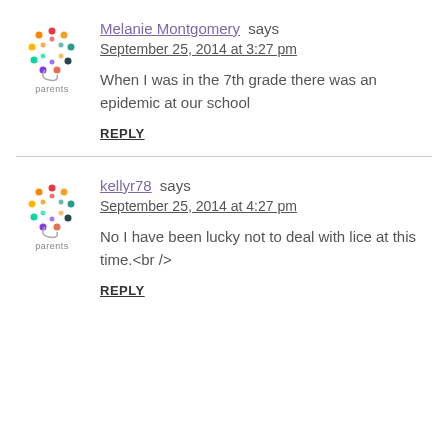[Figure (logo): Parents website logo with colorful dots/circle and 'parents' text]
Melanie Montgomery says
September 25, 2014 at 3:27 pm
When I was in the 7th grade there was an epidemic at our school
REPLY
[Figure (logo): Parents website logo with colorful dots/circle and 'parents' text]
kellyr78 says
September 25, 2014 at 4:27 pm
No I have been lucky not to deal with lice at this time.<br />
REPLY